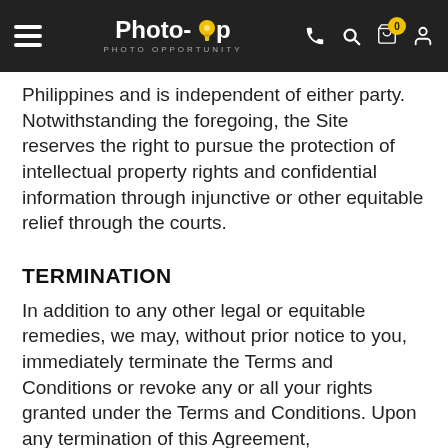Photo-Op PHOTO OPPORTUNITY
Philippines and is independent of either party. Notwithstanding the foregoing, the Site reserves the right to pursue the protection of intellectual property rights and confidential information through injunctive or other equitable relief through the courts.
TERMINATION
In addition to any other legal or equitable remedies, we may, without prior notice to you, immediately terminate the Terms and Conditions or revoke any or all your rights granted under the Terms and Conditions. Upon any termination of this Agreement,